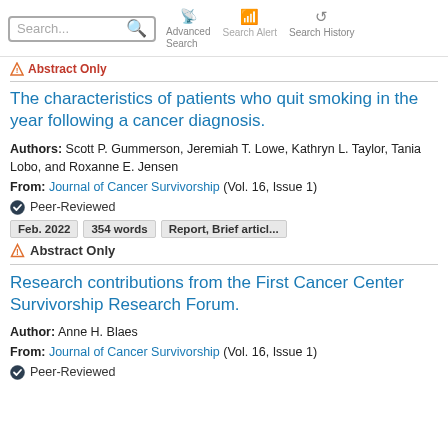Search... Advanced Search Search Alert Search History
Abstract Only
The characteristics of patients who quit smoking in the year following a cancer diagnosis.
Authors: Scott P. Gummerson, Jeremiah T. Lowe, Kathryn L. Taylor, Tania Lobo, and Roxanne E. Jensen
From: Journal of Cancer Survivorship (Vol. 16, Issue 1)
Peer-Reviewed
Feb. 2022  354 words  Report, Brief articl...
Abstract Only
Research contributions from the First Cancer Center Survivorship Research Forum.
Author: Anne H. Blaes
From: Journal of Cancer Survivorship (Vol. 16, Issue 1)
Peer-Reviewed